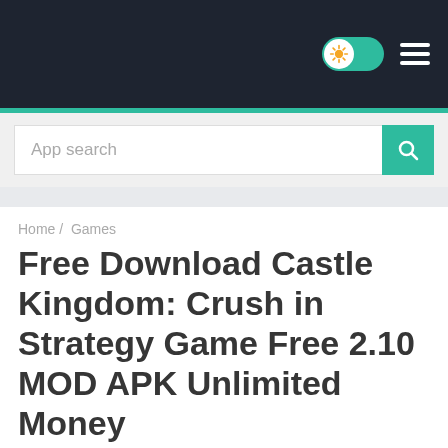Navigation bar with logo toggle and hamburger menu
App search
Home / Games
Free Download Castle Kingdom: Crush in Strategy Game Free 2.10 MOD APK Unlimited Money
Games
Strategy
[Figure (photo): Two gray image placeholders side by side]